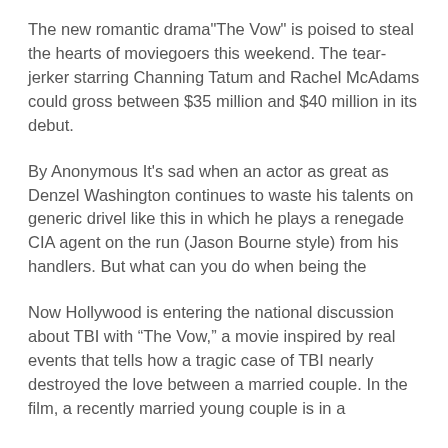The new romantic drama"The Vow" is poised to steal the hearts of moviegoers this weekend. The tear-jerker starring Channing Tatum and Rachel McAdams could gross between $35 million and $40 million in its debut.
By Anonymous It's sad when an actor as great as Denzel Washington continues to waste his talents on generic drivel like this in which he plays a renegade CIA agent on the run (Jason Bourne style) from his handlers. But what can you do when being the
Now Hollywood is entering the national discussion about TBI with “The Vow,” a movie inspired by real events that tells how a tragic case of TBI nearly destroyed the love between a married couple. In the film, a recently married young couple is in a
Looking glam and grown-up at the premiere of The Vow, the two youngest stars of Keeping up with the Kardashians are quickly becoming established in their own right. Kendall Jenner